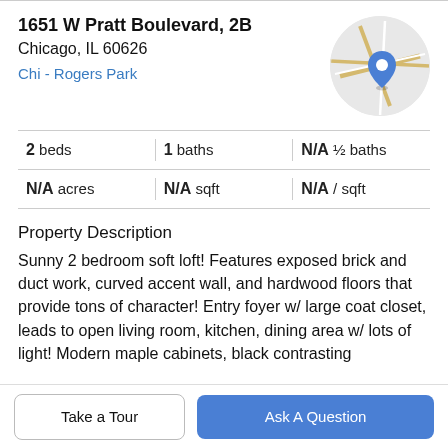1651 W Pratt Boulevard, 2B
Chicago, IL 60626
Chi - Rogers Park
[Figure (map): Circular map thumbnail showing street map with blue location pin]
| beds | baths | ½ baths | acres | sqft | / sqft |
| --- | --- | --- | --- | --- | --- |
| 2 | 1 | N/A | N/A | N/A | N/A |
Property Description
Sunny 2 bedroom soft loft! Features exposed brick and duct work, curved accent wall, and hardwood floors that provide tons of character! Entry foyer w/ large coat closet, leads to open living room, kitchen, dining area w/ lots of light! Modern maple cabinets, black contrasting
Take a Tour
Ask A Question